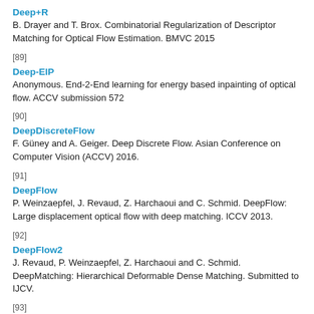Deep+R
B. Drayer and T. Brox. Combinatorial Regularization of Descriptor Matching for Optical Flow Estimation. BMVC 2015
[89]
Deep-EIP
Anonymous. End-2-End learning for energy based inpainting of optical flow. ACCV submission 572
[90]
DeepDiscreteFlow
F. Güney and A. Geiger. Deep Discrete Flow. Asian Conference on Computer Vision (ACCV) 2016.
[91]
DeepFlow
P. Weinzaepfel, J. Revaud, Z. Harchaoui and C. Schmid. DeepFlow: Large displacement optical flow with deep matching. ICCV 2013.
[92]
DeepFlow2
J. Revaud, P. Weinzaepfel, Z. Harchaoui and C. Schmid. DeepMatching: Hierarchical Deformable Dense Matching. Submitted to IJCV.
[93]